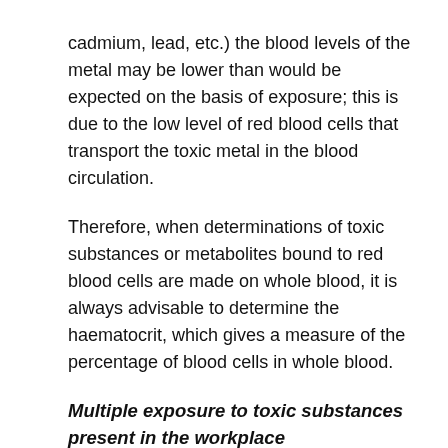cadmium, lead, etc.) the blood levels of the metal may be lower than would be expected on the basis of exposure; this is due to the low level of red blood cells that transport the toxic metal in the blood circulation.
Therefore, when determinations of toxic substances or metabolites bound to red blood cells are made on whole blood, it is always advisable to determine the haematocrit, which gives a measure of the percentage of blood cells in whole blood.
Multiple exposure to toxic substances present in the workplace
In the case of combined exposure to more than one toxic substance present at the workplace, metabolic interferences may occur that can alter the behaviour of the biological indicators and thus create serious problems in interpretation. In human studies, interferences have been demonstrated, for example, in combined exposure to toluene and xylene, xylene